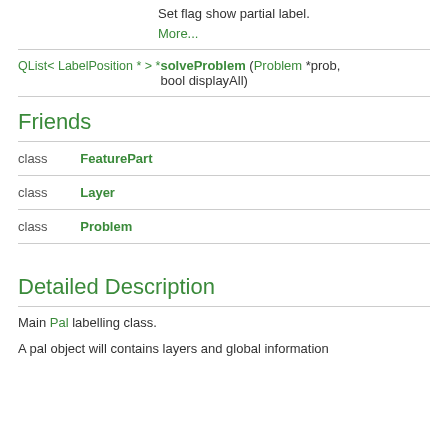Set flag show partial label. More...
QList< LabelPosition * > *  solveProblem (Problem *prob, bool displayAll)
Friends
class   FeaturePart
class   Layer
class   Problem
Detailed Description
Main Pal labelling class.
A pal object will contains layers and global information